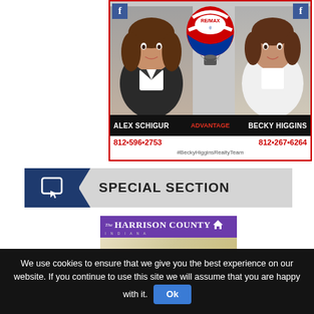[Figure (photo): RE/MAX Advantage real estate advertisement featuring Alex Schigur and Becky Higgins with a RE/MAX hot air balloon logo. Phone numbers 812-596-2753 and 812-267-6264, hashtag #BeckyHigginsRealtyTeam]
SPECIAL SECTION
[Figure (photo): The Harrison County Indiana magazine cover showing colorful decorated owls and event imagery with purple background]
We use cookies to ensure that we give you the best experience on our website. If you continue to use this site we will assume that you are happy with it.